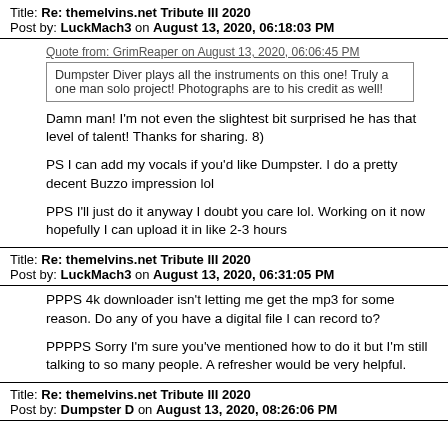Title: Re: themelvins.net Tribute III 2020
Post by: LuckMach3 on August 13, 2020, 06:18:03 PM
Quote from: GrimReaper on August 13, 2020, 06:06:45 PM
Dumpster Diver plays all the instruments on this one! Truly a one man solo project! Photographs are to his credit as well!
Damn man!  I'm not even the slightest bit surprised he has that level of talent!  Thanks for sharing.   8)
PS I can add my vocals if you'd like Dumpster.  I do a pretty decent Buzzo impression lol
PPS I'll just do it anyway I doubt you care lol.  Working on it now hopefully I can upload it in like 2-3 hours
Title: Re: themelvins.net Tribute III 2020
Post by: LuckMach3 on August 13, 2020, 06:31:05 PM
PPPS 4k downloader isn't letting me get the mp3 for some reason.  Do any of you have a digital file I can record to?
PPPPS Sorry I'm sure you've mentioned how to do it but I'm still talking to so many people.  A refresher would be very helpful.
Title: Re: themelvins.net Tribute III 2020
Post by: Dumpster D on August 13, 2020, 08:26:06 PM